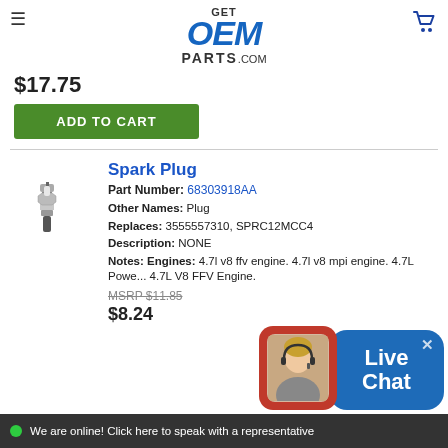[Figure (logo): GetOEMParts.com logo with blue OEM text]
$17.75
ADD TO CART
Spark Plug
Part Number: 68303918AA
Other Names: Plug
Replaces: 3555557310, SPRC12MCC4
Description: NONE
Notes: Engines: 4.7l v8 ffv engine. 4.7l v8 mpi engine. 4.7L Power... Engine.
MSRP $11.85
$8.24
[Figure (photo): Spark plug product photo]
[Figure (infographic): Live Chat widget with customer service representative photo]
We are online! Click here to speak with a representative